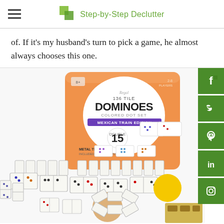Step-by-Step Declutter
of. If it's my husband's turn to pick a game, he almost always chooses this one.
[Figure (photo): Product photo of a 136 Tile Dominoes Colored Dot Set Mexican Train Edition in an orange tin box, surrounded by dominoes tiles arranged in a train pattern with a central hub and metal train pieces.]